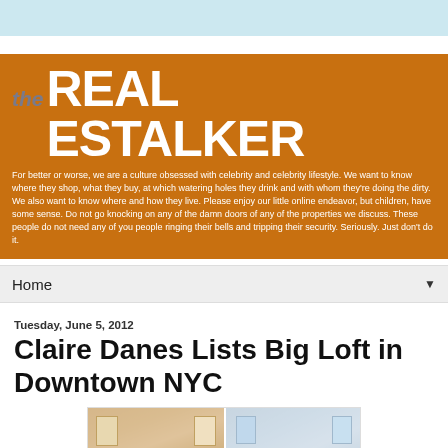[Figure (other): Light blue decorative bar at top of webpage]
[Figure (other): The Real Estalker blog banner with orange background, logo text and description]
Home
Tuesday, June 5, 2012
Claire Danes Lists Big Loft in Downtown NYC
[Figure (photo): Two interior photos of loft apartment showing living room areas with hardwood floors, large windows, and furniture]